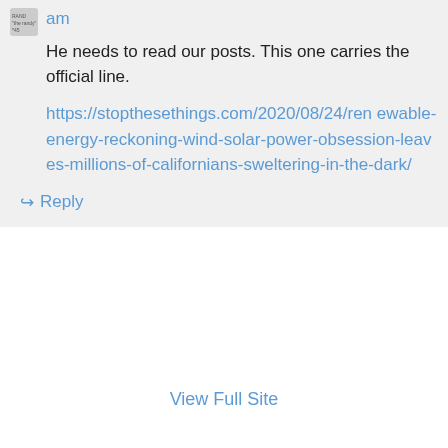am
He needs to read our posts. This one carries the official line.
https://stopthesethings.com/2020/08/24/renewable-energy-reckoning-wind-solar-power-obsession-leaves-millions-of-californians-sweltering-in-the-dark/
↳ Reply
View Full Site